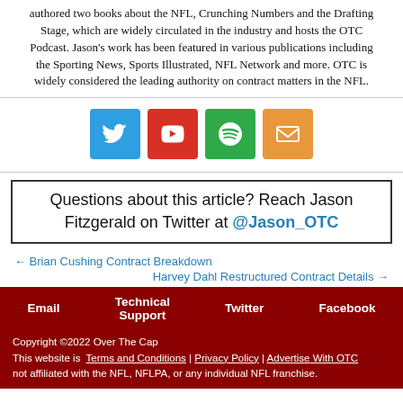authored two books about the NFL, Crunching Numbers and the Drafting Stage, which are widely circulated in the industry and hosts the OTC Podcast. Jason's work has been featured in various publications including the Sporting News, Sports Illustrated, NFL Network and more. OTC is widely considered the leading authority on contract matters in the NFL.
[Figure (infographic): Four social media icons: Twitter (blue), YouTube (red), Spotify (green), Email (orange)]
Questions about this article? Reach Jason Fitzgerald on Twitter at @Jason_OTC
← Brian Cushing Contract Breakdown
Harvey Dahl Restructured Contract Details →
Email | Technical Support | Twitter | Facebook
Copyright ©2022 Over The Cap
This website is not affiliated with the NFL, NFLPA, or any individual NFL franchise.
Terms and Conditions | Privacy Policy | Advertise With OTC